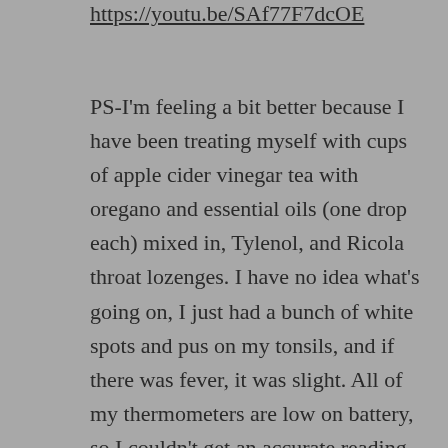https://youtu.be/SAf77F7dcOE
PS-I'm feeling a bit better because I have been treating myself with cups of apple cider vinegar tea with oregano and essential oils (one drop each) mixed in, Tylenol, and Ricola throat lozenges. I have no idea what's going on, I just had a bunch of white spots and pus on my tonsils, and if there was fever, it was slight. All of my thermometers are low on battery, so I couldn't get an accurate reading. The fatigue has been the worst, not wanting to do anything, and that kind of floaty feeling you get when you have the flu. I heard and read that allergies...